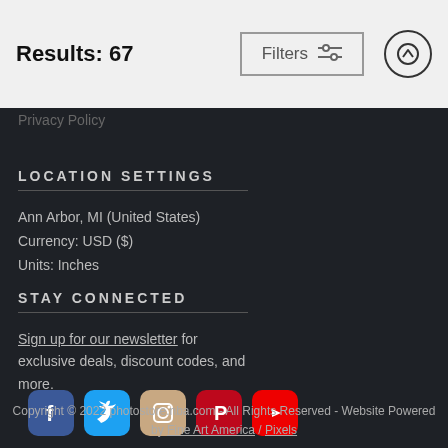Results: 67
Privacy Policy
LOCATION SETTINGS
Ann Arbor, MI (United States)
Currency: USD ($)
Units: Inches
STAY CONNECTED
Sign up for our newsletter for exclusive deals, discount codes, and more.
[Figure (infographic): Social media icons: Facebook, Twitter, Instagram, Pinterest, YouTube]
Copyright © 2022 photostore.nba.com - All Rights Reserved - Website Powered by Fine Art America / Pixels